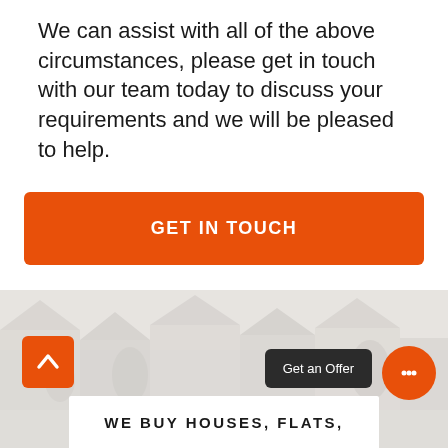We can assist with all of the above circumstances, please get in touch with our team today to discuss your requirements and we will be pleased to help.
[Figure (other): Orange 'GET IN TOUCH' call-to-action button]
[Figure (photo): Greyed-out street scene / houses background image with white panel overlay showing 'WE BUY HOUSES, FLATS,' text, an orange back-to-top arrow button, a dark 'Get an Offer' button, and an orange chat bubble button]